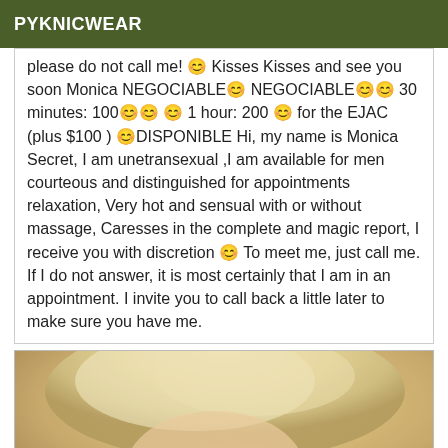PYKNICWEAR
please do not call me! 😊 Kisses Kisses and see you soon Monica NEGOCIABLE😊 NEGOCIABLE😊😊 30 minutes: 100😊😊 1 hour: 200 😊 for the EJAC (plus $100 ) 😊DISPONIBLE Hi, my name is Monica Secret, I am unetransexual ,I am available for men courteous and distinguished for appointments relaxation, Very hot and sensual with or without massage, Caresses in the complete and magic report, I receive you with discretion 😊 To meet me, just call me. If I do not answer, it is most certainly that I am in an appointment. I invite you to call back a little later to make sure you have me.
[Figure (photo): Close-up photo of a blonde person, partially visible, with light skin, showing upper body area.]